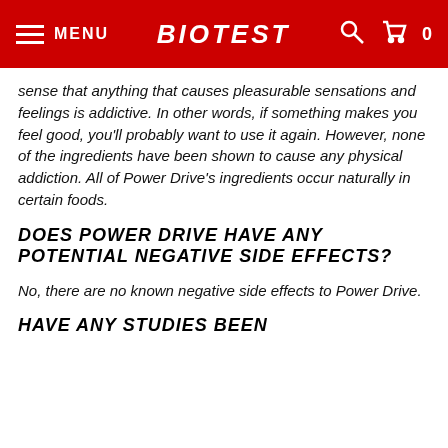MENU | BIOTEST | 0
sense that anything that causes pleasurable sensations and feelings is addictive. In other words, if something makes you feel good, you'll probably want to use it again. However, none of the ingredients have been shown to cause any physical addiction. All of Power Drive's ingredients occur naturally in certain foods.
DOES POWER DRIVE HAVE ANY POTENTIAL NEGATIVE SIDE EFFECTS?
No, there are no known negative side effects to Power Drive.
HAVE ANY STUDIES BEEN